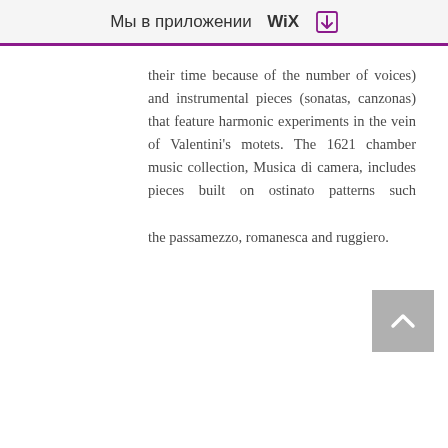Мы в приложении WiX ⬇
their time because of the number of voices) and instrumental pieces (sonatas, canzonas) that feature harmonic experiments in the vein of Valentini's motets. The 1621 chamber music collection, Musica di camera, includes pieces built on ostinato patterns such as the passamezzo, romanesca and ruggiero.
[Figure (other): Scroll-to-top button (grey square with upward chevron arrow)]